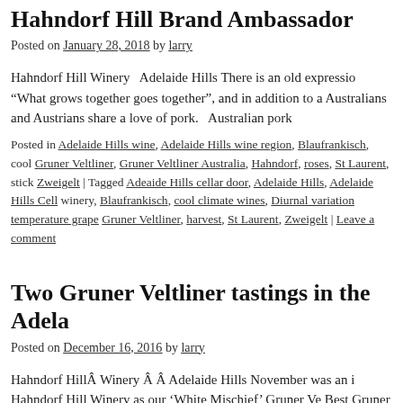Hahndorf Hill Brand Ambassador
Posted on January 28, 2018 by larry
Hahndorf Hill Winery   Adelaide Hills There is an old expression “What grows together goes together”, and in addition to a Australians and Austrians share a love of pork.   Australian pork
Posted in Adelaide Hills wine, Adelaide Hills wine region, Blaufrankisch, cool Gruner Veltliner, Gruner Veltliner Australia, Hahndorf, roses, St Laurent, stick Zweigelt | Tagged Adeaide Hills cellar door, Adelaide Hills, Adelaide Hills Cell winery, Blaufrankisch, cool climate wines, Diurnal variation temperature grape Gruner Veltliner, harvest, St Laurent, Zweigelt | Leave a comment
Two Gruner Veltliner tastings in the Adela
Posted on December 16, 2016 by larry
Hahndorf HillÂ Winery Â Â Adelaide Hills November was an i Hahndorf Hill Winery as our ‘White Mischief’ Gruner Ve Best Gruner Veltliner at the Adelaide Hills Wine Show 2016, pl
reading →